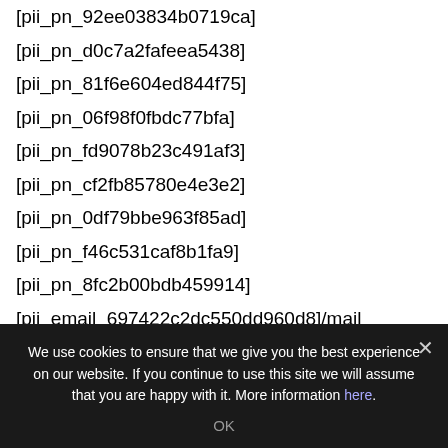[pii_pn_92ee03834b0719ca]
[pii_pn_d0c7a2fafeea5438]
[pii_pn_81f6e604ed844f75]
[pii_pn_06f98f0fbdc77bfa]
[pii_pn_fd9078b23c491af3]
[pii_pn_cf2fb85780e4e3e2]
[pii_pn_0df79bbe963f85ad]
[pii_pn_f46c531caf8b1fa9]
[pii_pn_8fc2b00bdb459914]
[pii_email_697422c2dc550dd960d8]/mail
[pii_pn_b3bb3ab2d2fae174]
[pii_pn_23f2972224bca0c076686]
We use cookies to ensure that we give you the best experience on our website. If you continue to use this site we will assume that you are happy with it. More information here.
OK